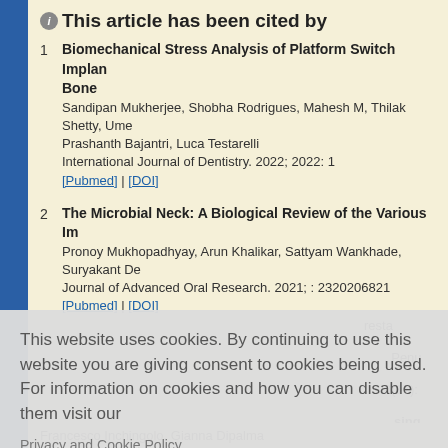This article has been cited by
1. Biomechanical Stress Analysis of Platform Switch Implant... Bone
Sandipan Mukherjee, Shobha Rodrigues, Mahesh M, Thilak Shetty, Ume... Prashanth Bajantri, Luca Testarelli
International Journal of Dentistry. 2022; 2022: 1
[Pubmed] | [DOI]
2. The Microbial Neck: A Biological Review of the Various Im...
Pronoy Mukhopadhyay, Arun Khalikar, Sattyam Wankhade, Suryakant De...
Journal of Advanced Oral Research. 2021; : 2320206821
[Pubmed] | [DOI]
This website uses cookies. By continuing to use this website you are giving consent to cookies being used. For information on cookies and how you can disable them visit our
Privacy and Cookie Policy.
AGREE & PROCEED
Francesco Inchingolo, Gianna Dipalma